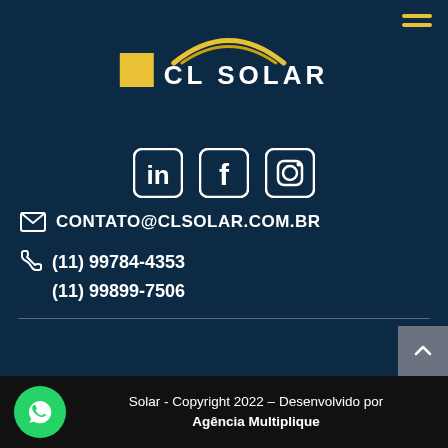[Figure (logo): CL Solar logo with yellow square, golden arch curves, and white bold text 'CL SOLAR']
[Figure (infographic): Social media icons: LinkedIn, Facebook, Instagram in white square-rounded style]
✉ CONTATO@CLSOLAR.COM.BR
📞 (11) 99784-4353
(11) 99899-7506
Solar - Copyright 2022 – Desenvolvido por Agência Multiplique